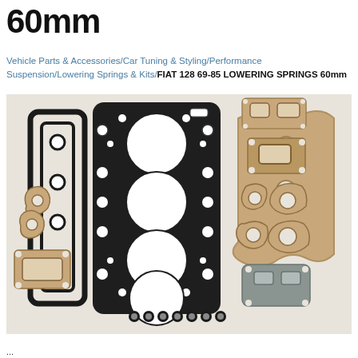60mm
Vehicle Parts & Accessories/Car Tuning & Styling/Performance Suspension/Lowering Springs & Kits/FIAT 128 69-85 LOWERING SPRINGS 60mm
[Figure (photo): Photograph of an engine gasket kit showing multiple gaskets of various shapes and sizes laid out on a white background, including a large black head gasket with circular cylinder cutouts, several smaller tan/bronze colored gaskets, a grey gasket, and small O-rings]
...